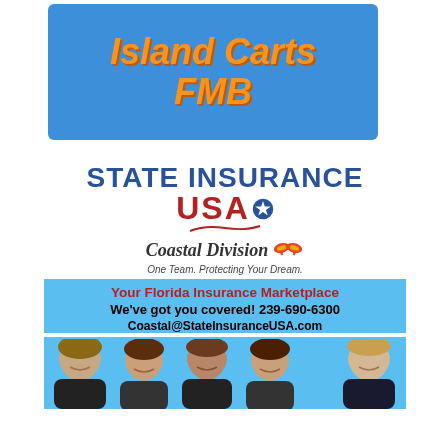[Figure (logo): Island Carts FMB logo — blue background with bold orange italic text reading 'Island Carts FMB']
[Figure (infographic): State Insurance USA Coastal Division advertisement. Includes logo with 'STATE INSURANCE USA' text (blue and red), Coastal Division script text with flip-flop icon, tagline 'One Team. Protecting Your Dream.', text 'Your Florida Insurance Marketplace', 'We've got you covered! 239-690-6300', 'Coastal@StateInsuranceUSA.com', and photos of five team members at the bottom.]